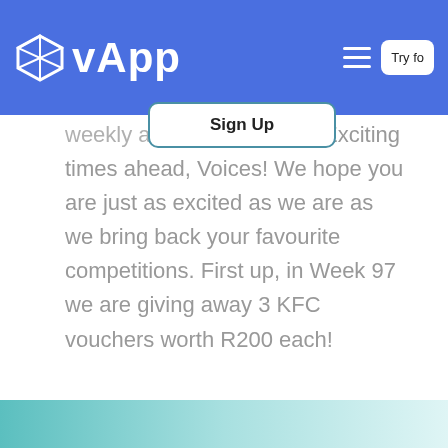vApp
weekly and monthly Sign Up tions. Exciting times ahead, Voices! We hope you are just as excited as we are as we bring back your favourite competitions. First up, in Week 97 we are giving away 3 KFC vouchers worth R200 each!
Continue reading
[Figure (screenshot): Gradient teal/green banner at bottom of page]